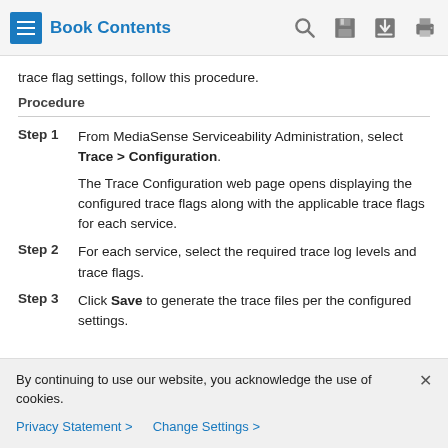Book Contents
trace flag settings, follow this procedure.
Procedure
Step 1 — From MediaSense Serviceability Administration, select Trace > Configuration. The Trace Configuration web page opens displaying the configured trace flags along with the applicable trace flags for each service.
Step 2 — For each service, select the required trace log levels and trace flags.
Step 3 — Click Save to generate the trace files per the configured settings.
By continuing to use our website, you acknowledge the use of cookies. Privacy Statement > Change Settings >